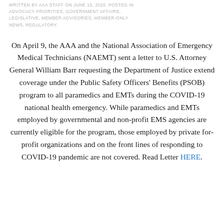WRITTEN BY AAA STAFF ON JUNE 15, 2020. POSTED IN ADVOCACY PRIORITIES, GOVERNMENT AFFAIRS, LEGISLATIVE, MEMBER ADVISORIES, MEMBER-ONLY NEWS, REGULATORY.
On April 9, the AAA and the National Association of Emergency Medical Technicians (NAEMT) sent a letter to U.S. Attorney General William Barr requesting the Department of Justice extend coverage under the Public Safety Officers' Benefits (PSOB) program to all paramedics and EMTs during the COVID-19 national health emergency. While paramedics and EMTs employed by governmental and non-profit EMS agencies are currently eligible for the program, those employed by private for-profit organizations and on the front lines of responding to COVID-19 pandemic are not covered. Read Letter HERE.